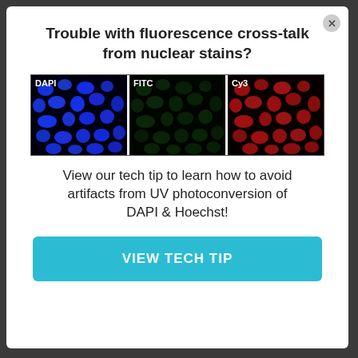Trouble with fluorescence cross-talk from nuclear stains?
[Figure (photo): Three fluorescence microscopy images side by side labeled DAPI (blue nuclei), FITC (green, dim nuclei), and Cy3 (red nuclei), showing cells stained with different fluorescent dyes.]
View our tech tip to learn how to avoid artifacts from UV photoconversion of DAPI & Hoechst!
VIEW TECH TIP